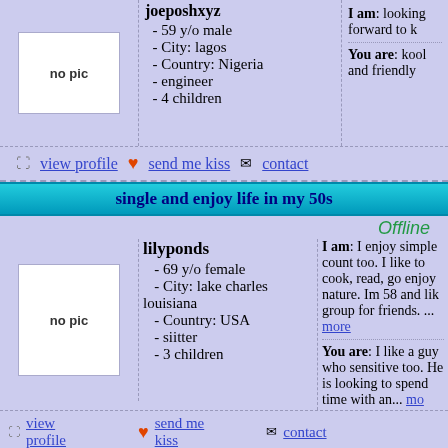joeposhxyz - 59 y/o male - City: lagos - Country: Nigeria - engineer - 4 children
I am: looking forward to k... You are: kool and friendly
view profile | send me kiss | contact
single and enjoy life in my 50s
lilyponds - 69 y/o female - City: lake charles louisiana - Country: USA - siitter - 3 children
I am: I enjoy simple count too. I like to cook, read, go enjoy nature. Im 58 and lik group for friends. ... more You are: I like a guy who sensitive too. He is looking to spend time with an... mo
view profile | send me kiss | contact
looking for love
bencad
I am: easy going good sen for long term leading marr